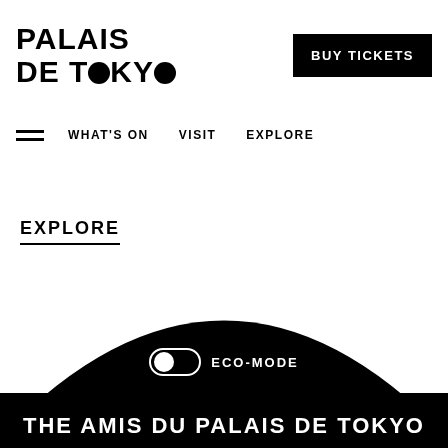PALAIS DE TOKYO
BUY TICKETS
WHAT'S ON   VISIT   EXPLORE
EXPLORE
[Figure (illustration): Large black semicircle arch shape at the bottom of the page with ECO-MODE toggle and partial text 'THE AMIS DU PALAIS DE TOKYO']
ECO-MODE
THE AMIS DU PALAIS DE TOKYO